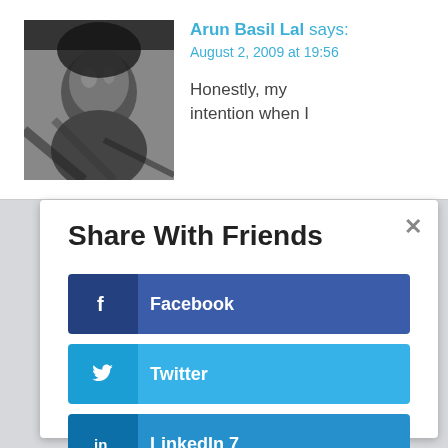[Figure (photo): Black and white portrait photo of a person looking upward]
Arun Basil Lal says:
August 2, 2009 at 19:56
Honestly, my intention when I
Share With Friends
Facebook
Twitter
LinkedIn 7
Gmail